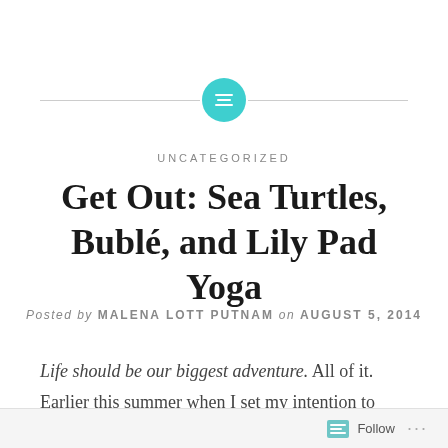[Figure (illustration): Teal/turquoise circle icon with horizontal lines (menu/list icon) centered between two horizontal divider lines]
UNCATEGORIZED
Get Out: Sea Turtles, Bublé, and Lily Pad Yoga
Posted by MALENA LOTT PUTNAM on AUGUST 5, 2014
Life should be our biggest adventure. All of it. Earlier this summer when I set my intention to living life full out and seeking more adventure, I had no idea what I'd find. That's part of the fun. I was open to whatever new
Follow